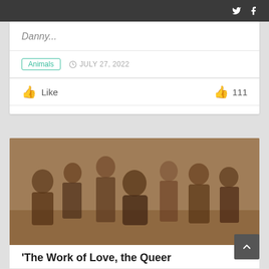Twitter Facebook (social share icons)
Danny...
Animals  JULY 27, 2022
👍 Like  👍 111
[Figure (photo): Black and white / sepia group photo of multiple people in theatrical or period costumes, some partially undressed, gathered around a person seated in a chair on a black-and-white checkered floor.]
'The Work of Love, the Queer